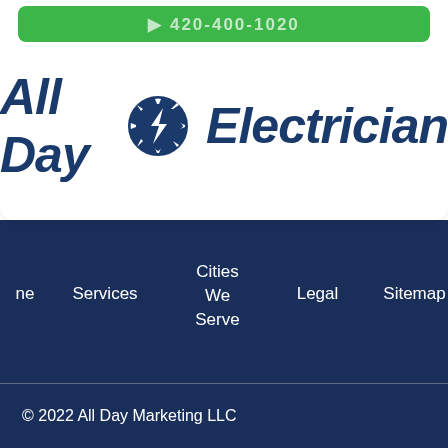[Figure (logo): All Day Electrician logo with lightning bolt icon in blue, italic bold text]
ne   Services   Cities We Serve   Legal   Sitemap   Add Y Comp To All Electri
© 2022 All Day Marketing LLC